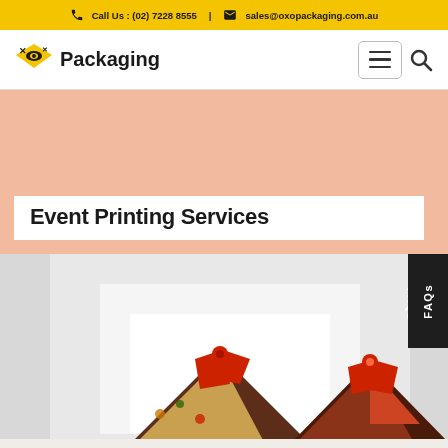Call Us : (02) 7228 8555  |  sales@oxopackaging.com.au
[Figure (logo): OXO Packaging logo with stylized eye/box icon and text 'Packaging']
Event Printing Services
[Figure (photo): Decorative gift boxes with patterned wrapping paper, ribbons and bows in red, brown and multicolor]
FAQs
LET'S CALL